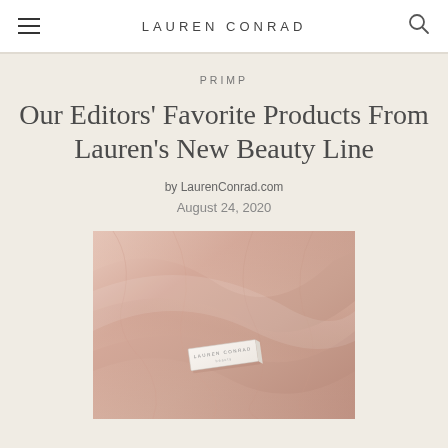LAUREN CONRAD
PRIMP
Our Editors' Favorite Products From Lauren's New Beauty Line
by LaurenConrad.com
August 24, 2020
[Figure (photo): Close-up photo of blush/nude pink satin silk fabric with a small white Lauren Conrad branded product box resting on top of it]